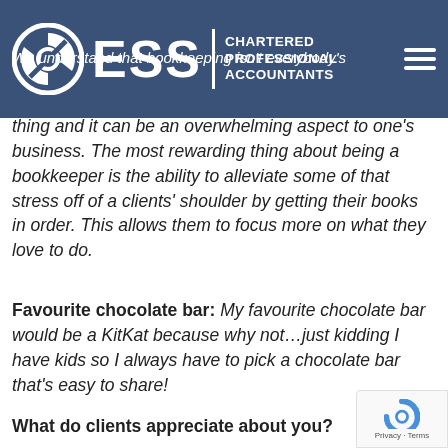[Figure (logo): ESS Chartered Professional Accountants logo with circular icon on a dark blue header bar, with hamburger menu icon on the right]
We understand that bookkeeping isn't everybody's thing and it can be an overwhelming aspect to one's business. The most rewarding thing about being a bookkeeper is the ability to alleviate some of that stress off of a clients' shoulder by getting their books in order. This allows them to focus more on what they love to do.
Favourite chocolate bar: My favourite chocolate bar would be a KitKat because why not…just kidding I have kids so I always have to pick a chocolate bar that's easy to share!
What do clients appreciate about you?